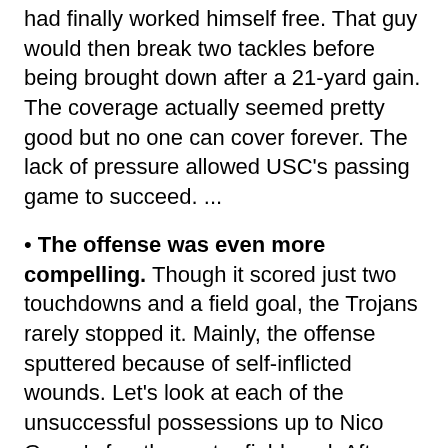had finally worked himself free. That guy would then break two tackles before being brought down after a 21-yard gain. The coverage actually seemed pretty good but no one can cover forever. The lack of pressure allowed USC's passing game to succeed. ...
• The offense was even more compelling. Though it scored just two touchdowns and a field goal, the Trojans rarely stopped it. Mainly, the offense sputtered because of self-inflicted wounds. Let's look at each of the unsuccessful possessions up to Nico Grasu's fourth-quarter field goal. After scoring on it first possession, Jeff Tuel misread the defense and threw the pick six (covered in greater detail in our notebook). The next possession USC stiffened after a 14-yard gain and forced a punt. An 18-yard gain started the next possession but a missed block up front led to a sack and another punt, which was blocked. Starting the next drive at its 1, WSU